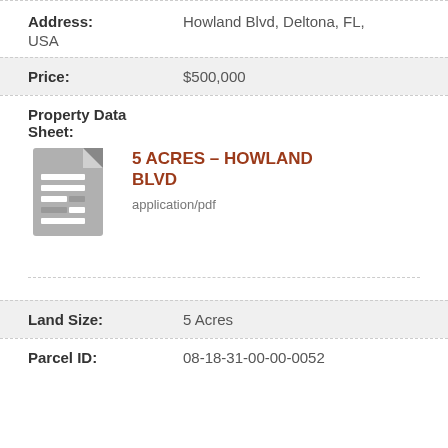Address: Howland Blvd, Deltona, FL, USA
Price: $500,000
Property Data Sheet:
[Figure (illustration): Document/PDF file icon in gray]
5 ACRES – HOWLAND BLVD
application/pdf
Land Size: 5 Acres
Parcel ID: 08-18-31-00-00-0052